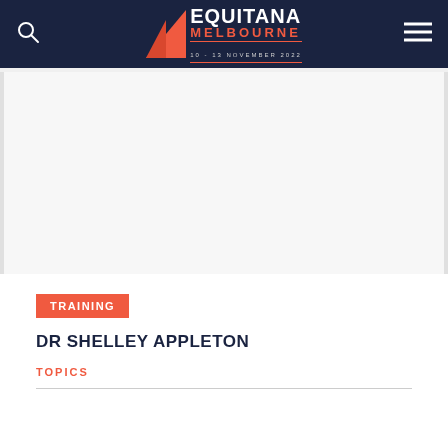EQUITANA MELBOURNE 10 - 13 NOVEMBER 2022
[Figure (photo): White/light grey placeholder image area below the header navigation]
TRAINING
DR SHELLEY APPLETON
TOPICS